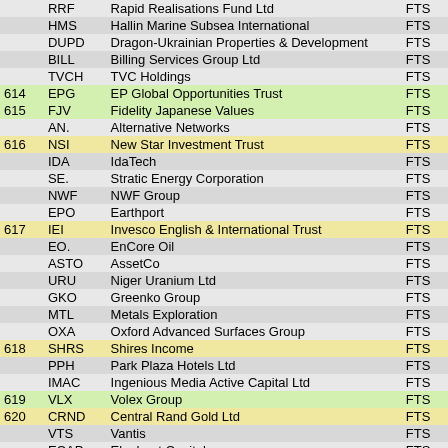|  | Ticker | Company Name | Index |
| --- | --- | --- | --- |
|  | RRF | Rapid Realisations Fund Ltd | FTS |
|  | HMS | Hallin Marine Subsea International | FTS |
|  | DUPD | Dragon-Ukrainian Properties & Development | FTS |
|  | BILL | Billing Services Group Ltd | FTS |
|  | TVCH | TVC Holdings | FTS |
| 614 | EPG | EP Global Opportunities Trust | FTS |
| 615 | FJV | Fidelity Japanese Values | FTS |
|  | AN. | Alternative Networks | FTS |
| 616 | NSI | New Star Investment Trust | FTS |
|  | IDA | IdaTech | FTS |
|  | SE. | Stratic Energy Corporation | FTS |
|  | NWF | NWF Group | FTS |
|  | EPO | Earthport | FTS |
| 617 | IEI | Invesco English & International Trust | FTS |
|  | EO. | EnCore Oil | FTS |
|  | ASTO | AssetCo | FTS |
|  | URU | Niger Uranium Ltd | FTS |
|  | GKO | Greenko Group | FTS |
|  | MTL | Metals Exploration | FTS |
|  | OXA | Oxford Advanced Surfaces Group | FTS |
| 618 | SHRS | Shires Income | FTS |
|  | PPH | Park Plaza Hotels Ltd | FTS |
|  | IMAC | Ingenious Media Active Capital Ltd | FTS |
| 619 | VLX | Volex Group | FTS |
| 620 | CRND | Central Rand Gold Ltd | FTS |
|  | VTS | Vantis | FTS |
|  | ECAP | Elephant Capital | FTS |
|  | ETO | Entertainment One Group | FTS |